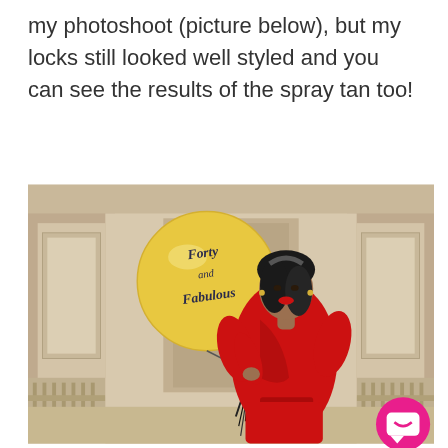my photoshoot (picture below), but my locks still looked well styled and you can see the results of the spray tan too!
[Figure (photo): Woman in a red wrap dress holding a large gold balloon that reads 'Forty and Fabulous' with black feather tassels, standing outdoors in front of an ornate stone structure. A pink chat/messenger button icon is overlaid in the bottom right corner.]